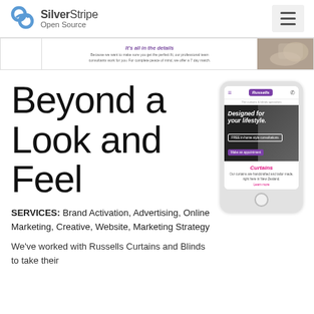SilverStripe Open Source
[Figure (screenshot): Website banner showing a jewelry/accessory styled promotional image with italic headline 'It's all in the details' and small body text about professional team consultants]
Beyond a Look and Feel
[Figure (screenshot): Mobile phone mockup showing Russells curtains and blinds website with purple branding, hero image 'Designed for your lifestyle.', Curtains section with pink heading]
SERVICES: Brand Activation, Advertising, Online Marketing, Creative, Website, Marketing Strategy
We've worked with Russells Curtains and Blinds to take their